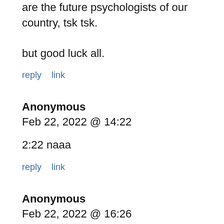are the future psychologists of our country, tsk tsk.
but good luck all.
reply   link
Anonymous
Feb 22, 2022 @ 14:22
2:22 naaa
reply   link
Anonymous
Feb 22, 2022 @ 16:26